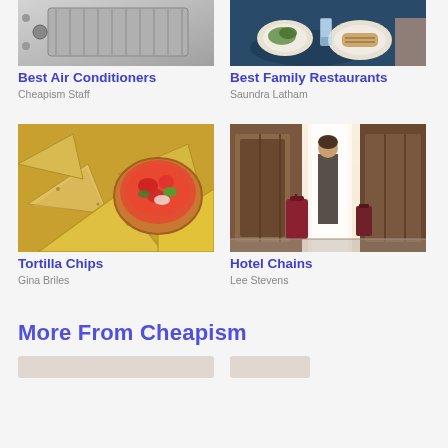[Figure (photo): Air conditioner unit, close-up silver metal grille]
Best Air Conditioners
Cheapism Staff
[Figure (photo): Restaurant table with plates of food, salad, grilled fish, water glasses]
Best Family Restaurants
Saundra Latham
[Figure (photo): Tortilla chips with a bowl of salsa/pico de gallo]
Tortilla Chips
Gina Briles
[Figure (photo): Person with luggage in hotel lobby corridor]
Hotel Chains
Lee Stevens
More From Cheapism